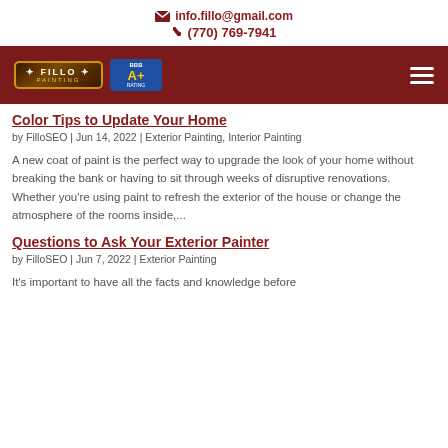info.fillo@gmail.com
(770) 769-7941
[Figure (logo): Fillo Painting logo with ornate badge and BBB A+ rating badge, on dark red navigation bar with hamburger menu]
Color Tips to Update Your Home
by FilloSEO | Jun 14, 2022 | Exterior Painting, Interior Painting
A new coat of paint is the perfect way to upgrade the look of your home without breaking the bank or having to sit through weeks of disruptive renovations. Whether you're using paint to refresh the exterior of the house or change the atmosphere of the rooms inside,...
Questions to Ask Your Exterior Painter
by FilloSEO | Jun 7, 2022 | Exterior Painting
It's important to have all the facts and knowledge before